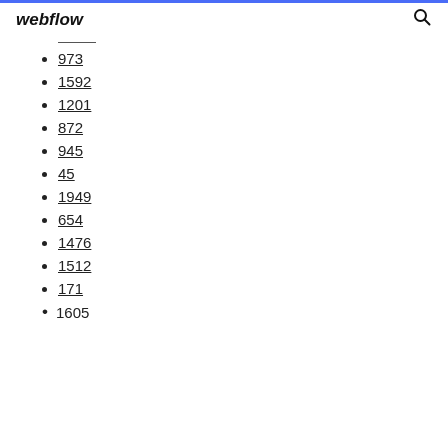webflow
973
1592
1201
872
945
45
1949
654
1476
1512
171
1605